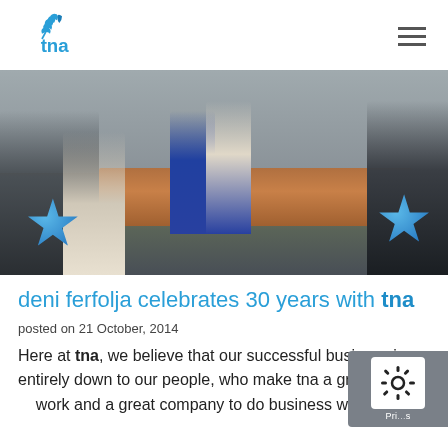tna logo and navigation
[Figure (photo): Group photo of tna employees standing around a long table in an office, with blue star-shaped balloons, celebrating Deni Ferfolja's 30 years with tna]
deni ferfolja celebrates 30 years with tna
posted on 21 October, 2014
Here at tna, we believe that our successful business is entirely down to our people, who make tna a great pl... work and a great company to do business with. Read